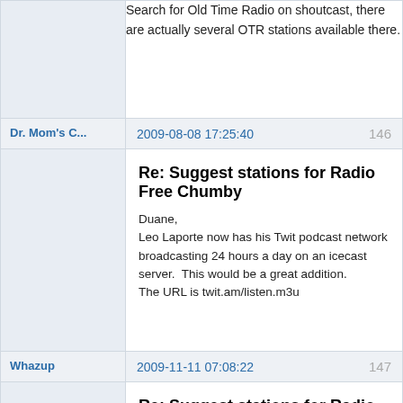Search for Old Time Radio on shoutcast, there are actually several OTR stations available there.
Dr. Mom's C...
2009-08-08 17:25:40
146
Re: Suggest stations for Radio Free Chumby
Duane,
Leo Laporte now has his Twit podcast network broadcasting 24 hours a day on an icecast server.  This would be a great addition.
The URL is twit.am/listen.m3u
Whazup
2009-11-11 07:08:22
147
Re: Suggest stations for Radio Free